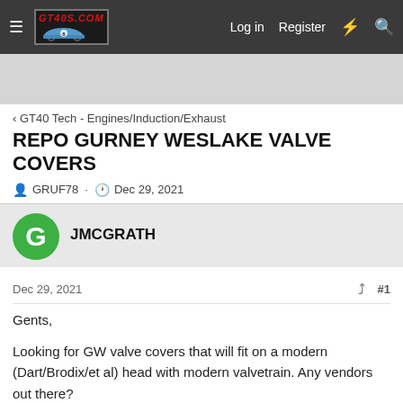GT40S.COM — Log in  Register
GT40 Tech - Engines/Induction/Exhaust
REPO GURNEY WESLAKE VALVE COVERS
GRUF78 · Dec 29, 2021
JMCGRATH
Dec 29, 2021  #1
Gents,

Looking for GW valve covers that will fit on a modern (Dart/Brodix/et al) head with modern valvetrain. Any vendors out there?